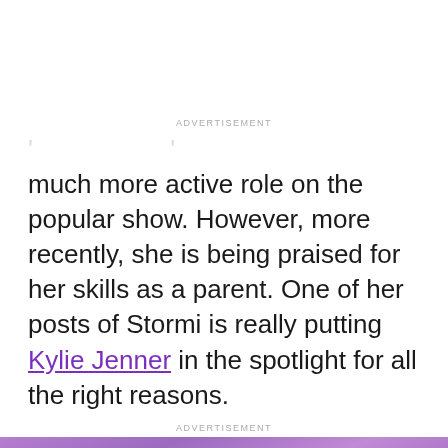much more active role on the popular show. However, more recently, she is being praised for her skills as a parent. One of her posts of Stormi is really putting Kylie Jenner in the spotlight for all the right reasons.
[Figure (photo): Blurred purple-toned close-up photo with Showbiz logo overlay at bottom center]